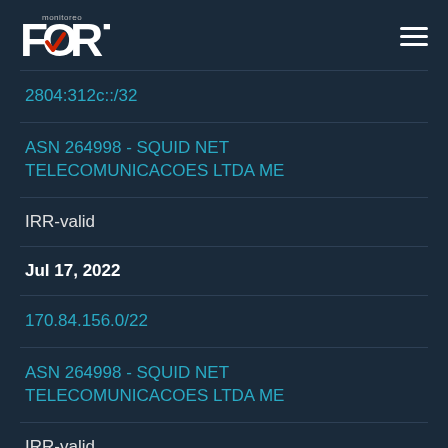FORT monitoreo — navigation header
2804:312c::/32
ASN 264998 - SQUID NET TELECOMUNICACOES LTDA ME
IRR-valid
Jul 17, 2022
170.84.156.0/22
ASN 264998 - SQUID NET TELECOMUNICACOES LTDA ME
IRR-valid